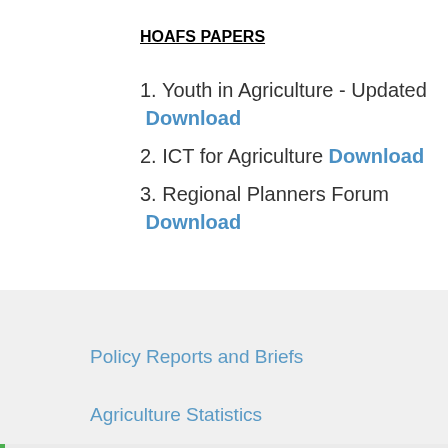HOAFS PAPERS
1. Youth in Agriculture - Updated  Download
2. ICT for Agriculture  Download
3. Regional Planners Forum  Download
Policy Reports and Briefs
Agriculture Statistics
Policies and Strategies